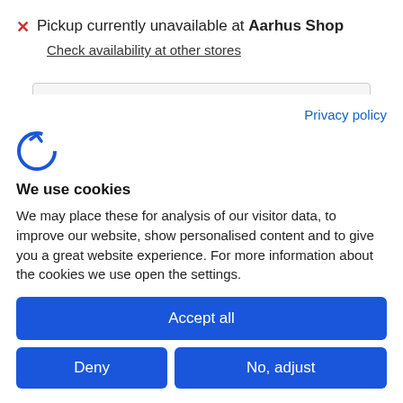Pickup currently unavailable at Aarhus Shop
Check availability at other stores
DELIVERY
Privacy policy
[Figure (logo): Cookiebot logo icon - stylized letter C with circular arrow]
We use cookies
We may place these for analysis of our visitor data, to improve our website, show personalised content and to give you a great website experience. For more information about the cookies we use open the settings.
Accept all
Deny
No, adjust